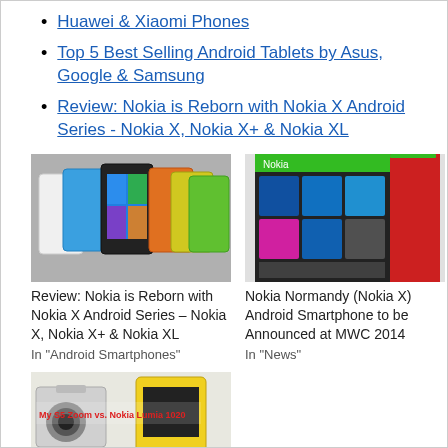Huawei & Xiaomi Phones
Top 5 Best Selling Android Tablets by Asus, Google & Samsung
Review: Nokia is Reborn with Nokia X Android Series - Nokia X, Nokia X+ & Nokia XL
[Figure (photo): Group of Nokia X Android series phones in multiple colors (white, blue, black, orange, yellow, green)]
Review: Nokia is Reborn with Nokia X Android Series – Nokia X, Nokia X+ & Nokia XL
In "Android Smartphones"
[Figure (photo): Nokia Normandy (Nokia X) Android smartphone close-up showing colorful tile interface]
Nokia Normandy (Nokia X) Android Smartphone to be Announced at MWC 2014
In "News"
[Figure (photo): Camera comparison image showing Samsung Galaxy S5 Zoom vs Nokia Lumia 1020]